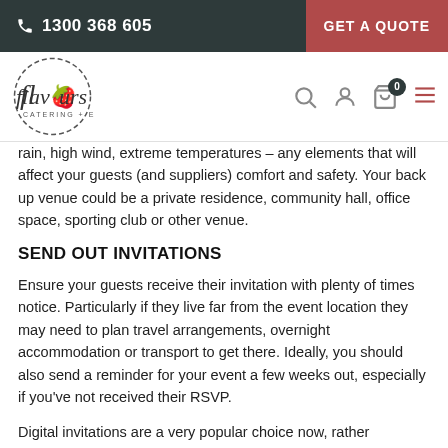1300 368 605 | GET A QUOTE
[Figure (logo): Flavours Catering + Events logo — circular logo with handwritten-style text]
rain, high wind, extreme temperatures – any elements that will affect your guests (and suppliers) comfort and safety. Your back up venue could be a private residence, community hall, office space, sporting club or other venue.
SEND OUT INVITATIONS
Ensure your guests receive their invitation with plenty of times notice. Particularly if they live far from the event location they may need to plan travel arrangements, overnight accommodation or transport to get there. Ideally, you should also send a reminder for your event a few weeks out, especially if you've not received their RSVP.
Digital invitations are a very popular choice now, rather